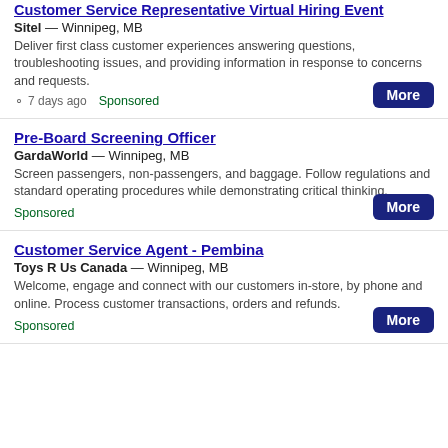Customer Service Representative Virtual Hiring Event
Sitel — Winnipeg, MB
Deliver first class customer experiences answering questions, troubleshooting issues, and providing information in response to concerns and requests.
7 days ago  Sponsored
Pre-Board Screening Officer
GardaWorld — Winnipeg, MB
Screen passengers, non-passengers, and baggage. Follow regulations and standard operating procedures while demonstrating critical thinking.
Sponsored
Customer Service Agent - Pembina
Toys R Us Canada — Winnipeg, MB
Welcome, engage and connect with our customers in-store, by phone and online. Process customer transactions, orders and refunds.
Sponsored